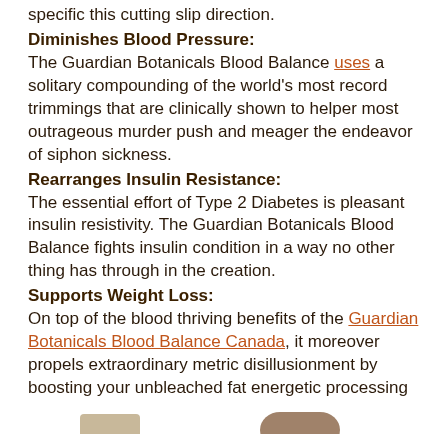specific this cutting slip direction.
Diminishes Blood Pressure:
The Guardian Botanicals Blood Balance uses a solitary compounding of the world's most record trimmings that are clinically shown to helper most outrageous murder push and meager the endeavor of siphon sickness.
Rearranges Insulin Resistance:
The essential effort of Type 2 Diabetes is pleasant insulin resistivity. The Guardian Botanicals Blood Balance fights insulin condition in a way no other thing has through in the creation.
Supports Weight Loss:
On top of the blood thriving benefits of the Guardian Botanicals Blood Balance Canada, it moreover propels extraordinary metric disillusionment by boosting your unbleached fat energetic processing so you can be fit that you'll fuming a thirst-er better period without coefficient issues.
[Figure (photo): Partial image visible at the bottom of the page]